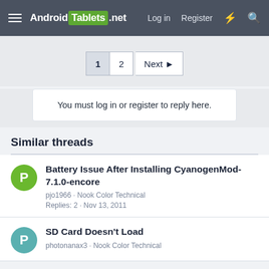AndroidTablets.net  Log in  Register
1  2  Next
You must log in or register to reply here.
Similar threads
Battery Issue After Installing CyanogenMod-7.1.0-encore
pjo1966 · Nook Color Technical
Replies: 2 · Nov 13, 2011
SD Card Doesn't Load
photonanax3 · Nook Color Technical